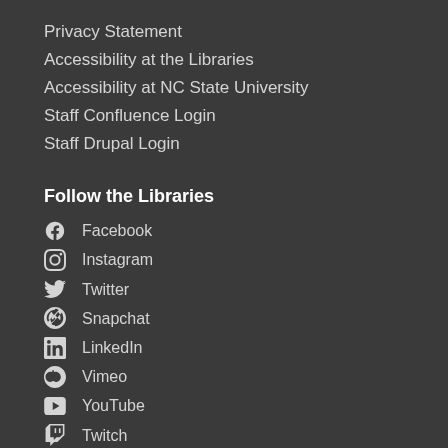Privacy Statement
Accessibility at the Libraries
Accessibility at NC State University
Staff Confluence Login
Staff Drupal Login
Follow the Libraries
Facebook
Instagram
Twitter
Snapchat
LinkedIn
Vimeo
YouTube
Twitch